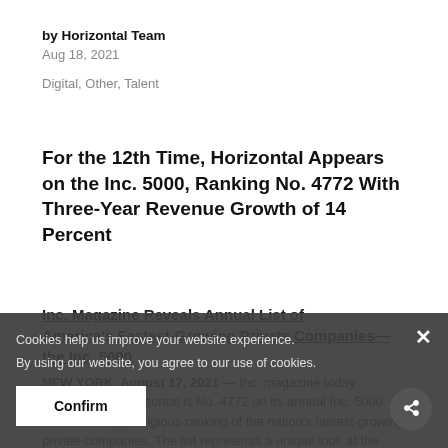by Horizontal Team
Aug 18, 2021
Digital, Other, Talent
For the 12th Time, Horizontal Appears on the Inc. 5000, Ranking No. 4772 With Three-Year Revenue Growth of 14 Percent
Inc. Magazine Reveals Annual List of America's Fastest-Growing Private Companies—the Inc. 5000
NEW YORK, August 17, 2021 — Inc. magazine today revealed that Horizontal is No. 4772 on its annual Inc. 5000 list, the most prestigious ranking of the nation's fastest-growing private companies. The list represents a unique look at the most successful companies within the American economy's most dynamic segment—its independent small businesses. Int'l
Cookies help us improve your website experience.
By using our website, you agree to our use of cookies.
Confirm